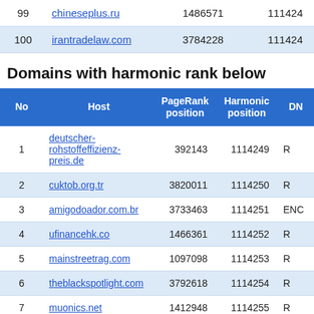| No | Host | PageRank position | Harmonic position | DN |
| --- | --- | --- | --- | --- |
| 99 | chineseplus.ru | 1486571 | 111424 |  |
| 100 | irantradelaw.com | 3784228 | 111424 |  |
Domains with harmonic rank below
| No | Host | PageRank position | Harmonic position | DN |
| --- | --- | --- | --- | --- |
| 1 | deutscher-rohstoffeffizienz-preis.de | 392143 | 1114249 | R |
| 2 | cuktob.org.tr | 3820011 | 1114250 | R |
| 3 | amigodoador.com.br | 3733463 | 1114251 | ENC |
| 4 | ufinancehk.co | 1466361 | 1114252 | R |
| 5 | mainstreetrag.com | 1097098 | 1114253 | R |
| 6 | theblackspotlight.com | 3792618 | 1114254 | R |
| 7 | muonics.net | 1412948 | 1114255 | R |
| 8 | eychurches.org.uk | 3634864 | 1114256 | R |